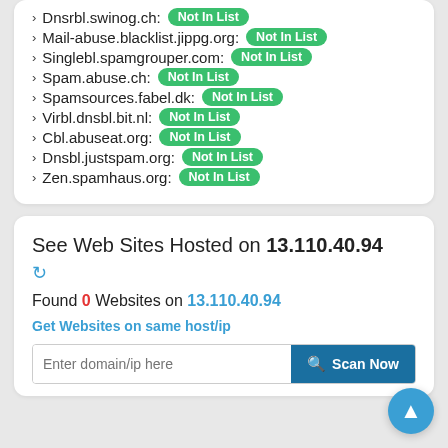Dnsrbl.swinog.ch: Not In List
Mail-abuse.blacklist.jippg.org: Not In List
Singlebl.spamgrouper.com: Not In List
Spam.abuse.ch: Not In List
Spamsources.fabel.dk: Not In List
Virbl.dnsbl.bit.nl: Not In List
Cbl.abuseat.org: Not In List
Dnsbl.justspam.org: Not In List
Zen.spamhaus.org: Not In List
See Web Sites Hosted on 13.110.40.94
Found 0 Websites on 13.110.40.94
Get Websites on same host/ip
Enter domain/ip here  Scan Now